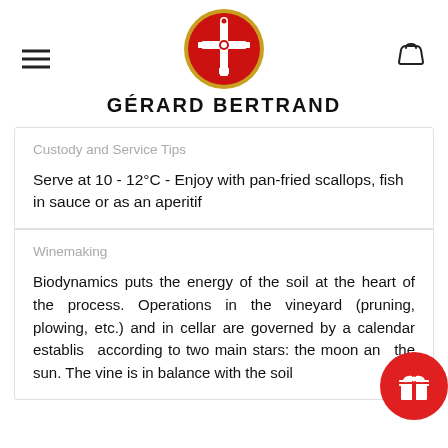[Figure (logo): Gérard Bertrand circular logo with red background and ornate cross emblem with gold border]
GÉRARD BERTRAND
Custody and Service Tips
Serve at 10 - 12°C - Enjoy with pan-fried scallops, fish in sauce or as an aperitif
Winemaking
Biodynamics puts the energy of the soil at the heart of the process. Operations in the vineyard (pruning, plowing, etc.) and in cellar are governed by a calendar established according to two main stars: the moon and the sun. The vine is in balance with the soil